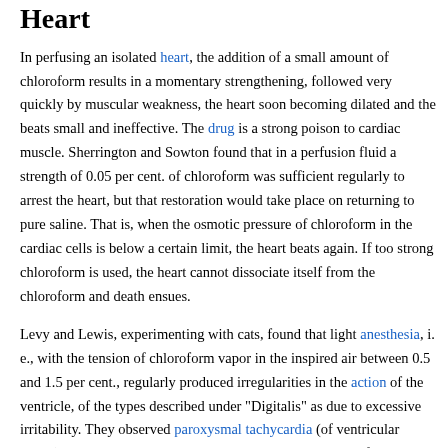Heart
In perfusing an isolated heart, the addition of a small amount of chloroform results in a momentary strengthening, followed very quickly by muscular weakness, the heart soon becoming dilated and the beats small and ineffective. The drug is a strong poison to cardiac muscle. Sherrington and Sowton found that in a perfusion fluid a strength of 0.05 per cent. of chloroform was sufficient regularly to arrest the heart, but that restoration would take place on returning to pure saline. That is, when the osmotic pressure of chloroform in the cardiac cells is below a certain limit, the heart beats again. If too strong chloroform is used, the heart cannot dissociate itself from the chloroform and death ensues.
Levy and Lewis, experimenting with cats, found that light anesthesia, i. e., with the tension of chloroform vapor in the inspired air between 0.5 and 1.5 per cent., regularly produced irregularities in the action of the ventricle, of the types described under "Digitalis" as due to excessive irritability. They observed paroxysmal tachycardia (of ventricular origin), premature ventricular contractions, and ventricular fibrillation. The increase of the vapor tension to 2 per cent. was regularly followed by the disappearance of the irregularity. Levy considers this due to